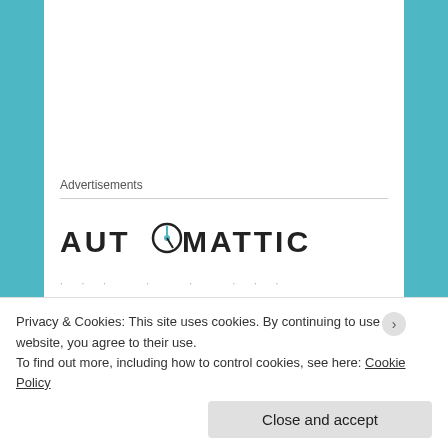Advertisements
[Figure (logo): Automattic logo — bold sans-serif text reading AUTOMATTIC with a compass/clock icon replacing the letter O]
· · · - · - · · -
CRAP   November 25, 2016 at 1:48 pm   LOG IN TO REPLY
HII HII HIII !
Privacy & Cookies: This site uses cookies. By continuing to use this website, you agree to their use.
To find out more, including how to control cookies, see here: Cookie Policy
Close and accept